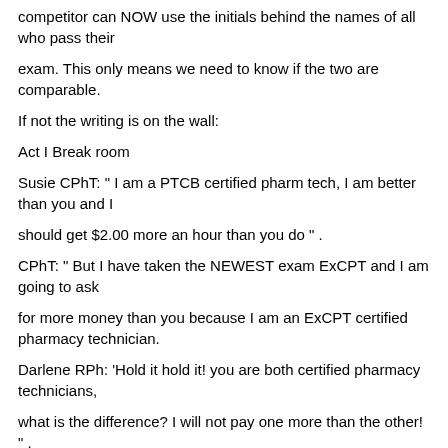competitor can NOW use the initials behind the names of all who pass their
exam. This only means we need to know if the two are comparable.
If not the writing is on the wall:
Act I Break room
Susie CPhT: " I am a PTCB certified pharm tech, I am better than you and I
should get $2.00 more an hour than you do " .
CPhT: " But I have taken the NEWEST exam ExCPT and I am going to ask
for more money than you because I am an ExCPT certified pharmacy technician.
Darlene RPh: 'Hold it hold it! you are both certified pharmacy technicians,
what is the difference? I will not pay one more than the other! " .
Act II - RPh Staff meeting